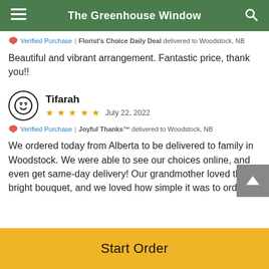The Greenhouse Window
🏷️ Verified Purchase | Florist's Choice Daily Deal delivered to Woodstock, NB
Beautiful and vibrant arrangement. Fantastic price, thank you!!
Tifarah — ★★★★★ — July 22, 2022
🏷️ Verified Purchase | Joyful Thanks™ delivered to Woodstock, NB
We ordered today from Alberta to be delivered to family in Woodstock. We were able to see our choices online, and even get same-day delivery! Our grandmother loved the bright bouquet, and we loved how simple it was to order
Start Order